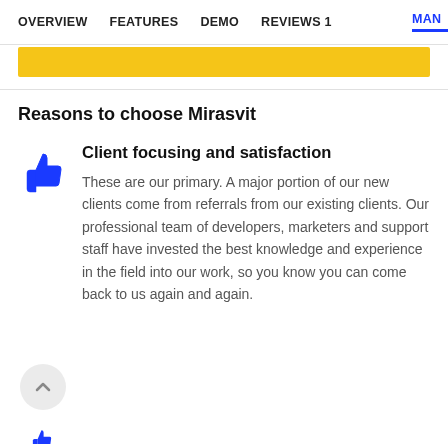OVERVIEW  FEATURES  DEMO  REVIEWS 1  MAN
Reasons to choose Mirasvit
[Figure (illustration): Blue thumbs up icon]
Client focusing and satisfaction
These are our primary. A major portion of our new clients come from referrals from our existing clients. Our professional team of developers, marketers and support staff have invested the best knowledge and experience in the field into our work, so you know you can come back to us again and again.